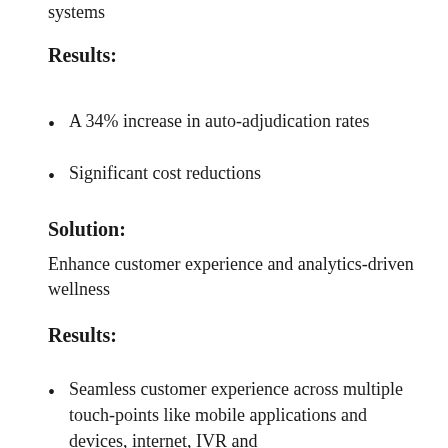systems
Results:
A 34% increase in auto-adjudication rates
Significant cost reductions
Solution:
Enhance customer experience and analytics-driven wellness
Results:
Seamless customer experience across multiple touch-points like mobile applications and devices, internet, IVR and